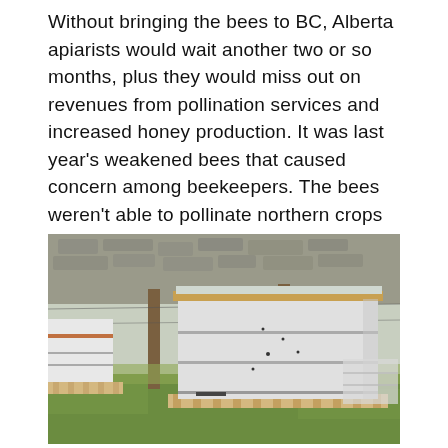Without bringing the bees to BC, Alberta apiarists would wait another two or so months, plus they would miss out on revenues from pollination services and increased honey production. It was last year's weakened bees that caused concern among beekeepers. The bees weren't able to pollinate northern crops well enough to create the usual volume of honey.
[Figure (photo): Outdoor photograph of multiple white wooden beehive boxes stacked on wooden pallets in a grassy area with wooden fence posts and a stone wall visible in the background.]